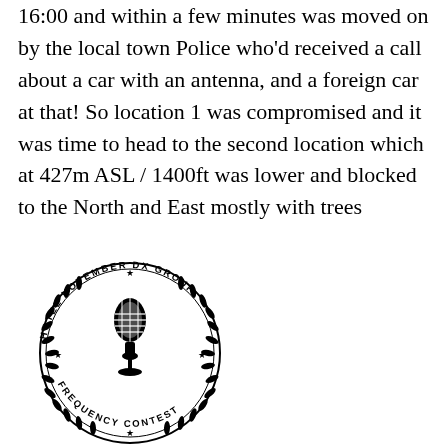16:00 and within a few minutes was moved on by the local town Police who'd received a call about a car with an antenna, and a foreign car at that! So location 1 was compromised and it was time to head to the second location which at 427m ASL / 1400ft was lower and blocked to the North and East mostly with trees
[Figure (logo): Circular logo for Hotel November DX Group Frequency Contest featuring a vintage microphone in the center surrounded by laurel wreath branches and stars]